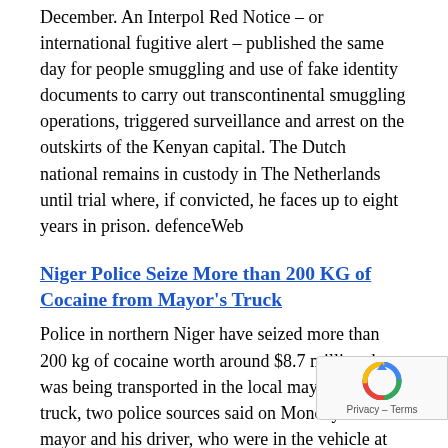December. An Interpol Red Notice – or international fugitive alert – published the same day for people smuggling and use of fake identity documents to carry out transcontinental smuggling operations, triggered surveillance and arrest on the outskirts of the Kenyan capital. The Dutch national remains in custody in The Netherlands until trial where, if convicted, he faces up to eight years in prison. defenceWeb
Niger Police Seize More than 200 KG of Cocaine from Mayor's Truck
Police in northern Niger have seized more than 200 kg of cocaine worth around $8.7 million that was being transported in the local mayor's official truck, two police sources said on Monday. The mayor and his driver, who were in the vehicle at the time, were arrested with 199 bricks of cocaine at a checkpoint on the road heading north out of the desert trading hub of Agadez on Sunday, the sources said. A statement from Niger's Central Office for the Repression of Illicit Drug Trafficking (OCRTIS) conf that there had been a record seizure of more than 200 kg of